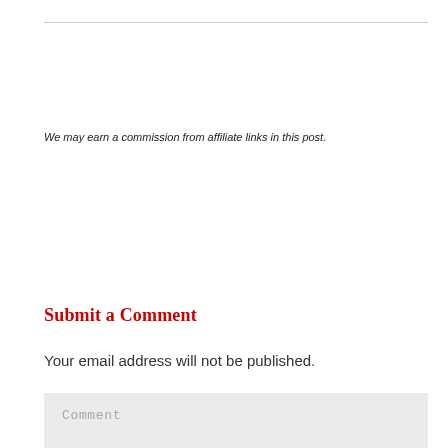We may earn a commission from affiliate links in this post.
Submit a Comment
Your email address will not be published.
Comment